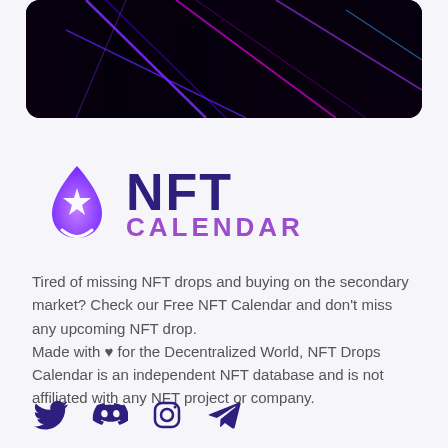[Figure (photo): Dark background image with neon blue and pink/purple light streaks on black, displayed at the top of the page]
[Figure (logo): NFT Calendar logo with purple drop/star icon on left, 'NFT' in dark purple bold large text, 'CALENDAR' in purple medium text below]
Tired of missing NFT drops and buying on the secondary market? Check our Free NFT Calendar and don't miss any upcoming NFT drop.
Made with ♥ for the Decentralized World, NFT Drops Calendar is an independent NFT database and is not affiliated with any NFT project or company.
[Figure (other): Row of social media icons: Twitter bird, Discord logo, Instagram logo, Telegram paper plane — all in purple/dark purple color]